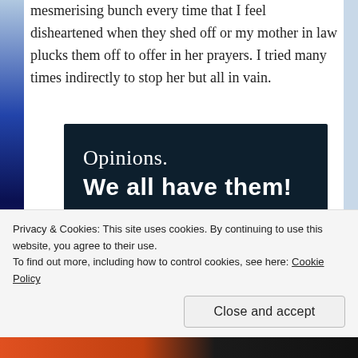mesmerising bunch every time that I feel disheartened when they shed off or my mother in law plucks them off to offer in her prayers. I tried many times indirectly to stop her but all in vain.
[Figure (infographic): Dark navy blue advertisement banner reading 'Opinions. We all have them!' with a pink 'Start a survey' button and a circular CrowdSignal logo on the bottom right.]
Privacy & Cookies: This site uses cookies. By continuing to use this website, you agree to their use.
To find out more, including how to control cookies, see here: Cookie Policy
Close and accept